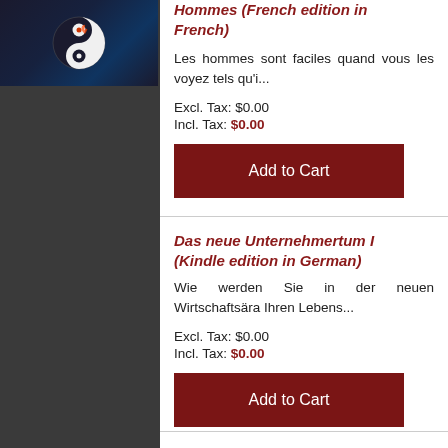[Figure (photo): Book cover with yin-yang symbol on dark background]
Hommes (French edition in French)
Les hommes sont faciles quand vous les voyez tels qu'i...
Excl. Tax: $0.00
Incl. Tax: $0.00
Add to Cart
Das neue Unternehmertum I (Kindle edition in German)
Wie werden Sie in der neuen Wirtschaftsära Ihren Lebens...
Excl. Tax: $0.00
Incl. Tax: $0.00
Add to Cart
Forget About Selling I: Winning Friends